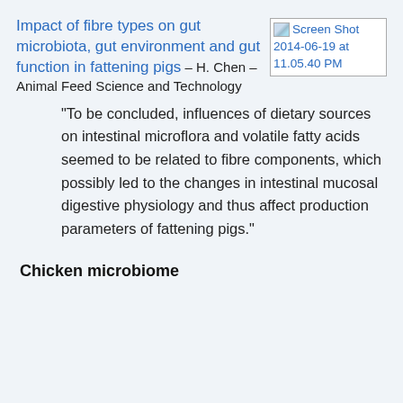Impact of fibre types on gut microbiota, gut environment and gut function in fattening pigs – H. Chen – Animal Feed Science and Technology
[Figure (screenshot): Screenshot thumbnail labeled 'Screen Shot 2014-06-19 at 11.05.40 PM']
“To be concluded, influences of dietary sources on intestinal microflora and volatile fatty acids seemed to be related to fibre components, which possibly led to the changes in intestinal mucosal digestive physiology and thus affect production parameters of fattening pigs.”
Chicken microbiome